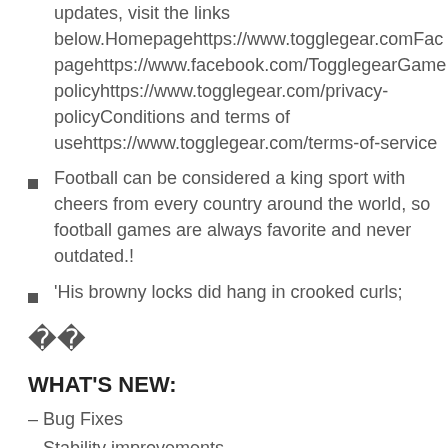updates, visit the links below.Homepagehttps://www.togglegear.comFacebook pagehttps://www.facebook.com/TogglegearGames Privacy policyhttps://www.togglegear.com/privacy-policyConditions and terms of usehttps://www.togglegear.com/terms-of-service
Football can be considered a king sport with cheers from every country around the world, so football games are always favorite and never outdated.!
'His browny locks did hang in crooked curls;
��
WHAT'S NEW:
– Bug Fixes
– Stability improvements